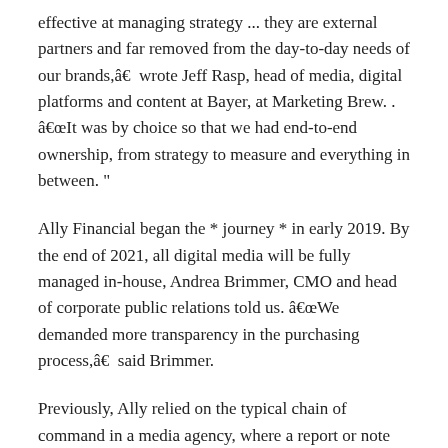effective at managing strategy ... they are external partners and far removed from the day-to-day needs of our brands,â€ wrote Jeff Rasp, head of media, digital platforms and content at Bayer, at Marketing Brew. . â€œIt was by choice so that we had end-to-end ownership, from strategy to measure and everything in between. ”
Ally Financial began the * journey * in early 2019. By the end of 2021, all digital media will be fully managed in-house, Andrea Brimmer, CMO and head of corporate public relations told us. â€œWe demanded more transparency in the purchasing process,â€ said Brimmer.
Previously, Ally relied on the typical chain of command in a media agency, where a report or note had to go through three or four different channels before being presented to the team.
Now Brimmer and his team get the â€œraw, unfetteredâ€